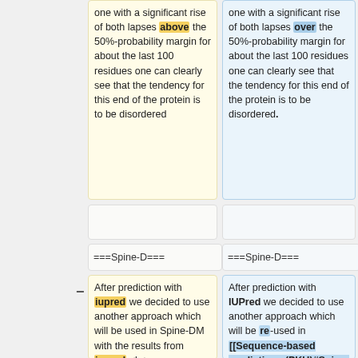one with a significant rise of both lapses above the 50%-probability margin for about the last 100 residues one can clearly see that the tendency for this end of the protein is to be disordered
one with a significant rise of both lapses over the 50%-probability margin for about the last 100 residues one can clearly see that the tendency for this end of the protein is to be disordered.
===Spine-D===
===Spine-D===
After prediction with iupred we decided to use another approach which will be used in Spine-DM with the results from iupred.<br>
After prediction with IUPred we decided to use another approach which will be re-used in [[Sequence-based predictions (PKU)#Spine-DM|Spine-DM]] with the results from